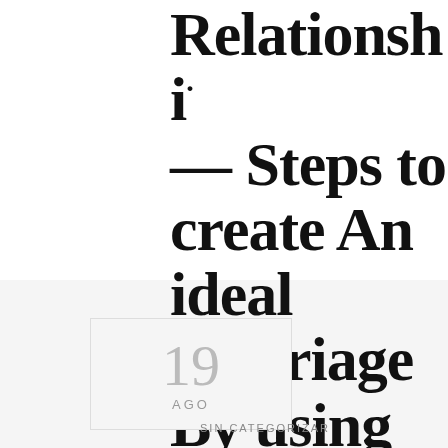Relationship — Steps to create An ideal Marriage By using Relationship Online dating sites
19 AGO
SIN CATEGORIZAR